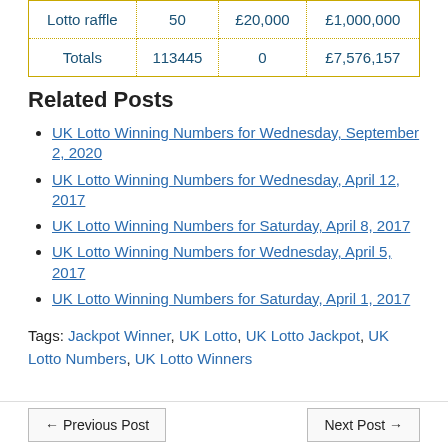| Lotto raffle | 50 | £20,000 | £1,000,000 |
| Totals | 113445 | 0 | £7,576,157 |
Related Posts
UK Lotto Winning Numbers for Wednesday, September 2, 2020
UK Lotto Winning Numbers for Wednesday, April 12, 2017
UK Lotto Winning Numbers for Saturday, April 8, 2017
UK Lotto Winning Numbers for Wednesday, April 5, 2017
UK Lotto Winning Numbers for Saturday, April 1, 2017
Tags: Jackpot Winner, UK Lotto, UK Lotto Jackpot, UK Lotto Numbers, UK Lotto Winners
← Previous Post    Next Post →